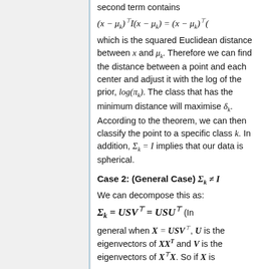second term contains
which is the squared Euclidean distance between x and μ_k. Therefore we can find the distance between a point and each center and adjust it with the log of the prior, log(π_k). The class that has the minimum distance will maximise δ_k. According to the theorem, we can then classify the point to a specific class k. In addition, Σ_k = I implies that our data is spherical.
Case 2: (General Case) Σ_k ≠ I
We can decompose this as:
(In general when X = USV^⊤, U is the eigenvectors of XX^T and V is the eigenvectors of X^⊤X. So if X is